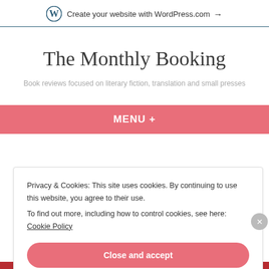Create your website with WordPress.com →
The Monthly Booking
Book reviews focused on literary fiction, translation and small presses
MENU +
Privacy & Cookies: This site uses cookies. By continuing to use this website, you agree to their use.
To find out more, including how to control cookies, see here: Cookie Policy
Close and accept